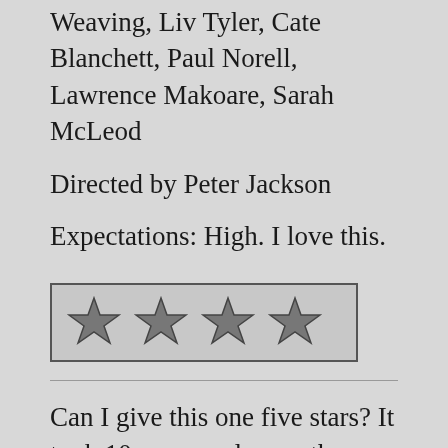Weaving, Liv Tyler, Cate Blanchett, Paul Norell, Lawrence Makoare, Sarah McLeod
Directed by Peter Jackson
Expectations: High. I love this.
[Figure (other): Four stars rating in a bordered box]
Can I give this one five stars? It took 10 years and more than a few re-watches, but I have finally come around on this one. Don't get me wrong, I always loved the film, but I also always thought it was the weakest of the trilogy. This time I was struck by how powerful a film Return of the King is and how